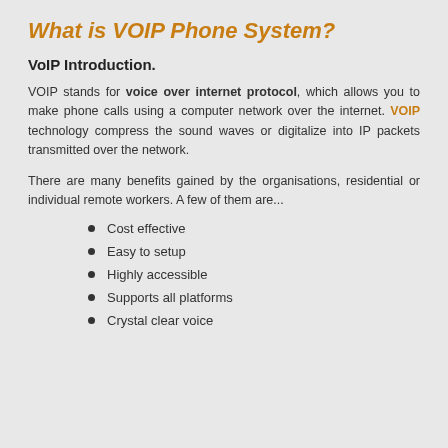What is VOIP Phone System?
VoIP Introduction.
VOIP stands for voice over internet protocol, which allows you to make phone calls using a computer network over the internet. VOIP technology compress the sound waves or digitalize into IP packets transmitted over the network.
There are many benefits gained by the organisations, residential or individual remote workers. A few of them are...
Cost effective
Easy to setup
Highly accessible
Supports all platforms
Crystal clear voice